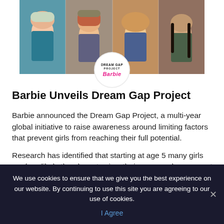[Figure (photo): Four young girls of different ethnicities shown in a horizontal strip photo. In the center of the photo is the Dream Gap Project Barbie logo — a circular white badge with 'DREAM GAP PROJECT' text and 'Barbie' in pink script below.]
Barbie Unveils Dream Gap Project
Barbie announced the Dream Gap Project, a multi-year global initiative to raise awareness around limiting factors that prevent girls from reaching their full potential.
Research has identified that starting at age 5 many girls are less likely than boys to view their own gender as smart and begin to lose
We use cookies to ensure that we give you the best experience on our website. By continuing to use this site you are agreeing to our use of cookies.
I Agree